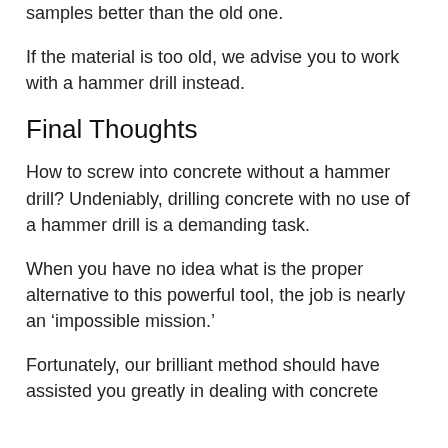samples better than the old one.
If the material is too old, we advise you to work with a hammer drill instead.
Final Thoughts
How to screw into concrete without a hammer drill? Undeniably, drilling concrete with no use of a hammer drill is a demanding task.
When you have no idea what is the proper alternative to this powerful tool, the job is nearly an ‘impossible mission.’
Fortunately, our brilliant method should have assisted you greatly in dealing with concrete